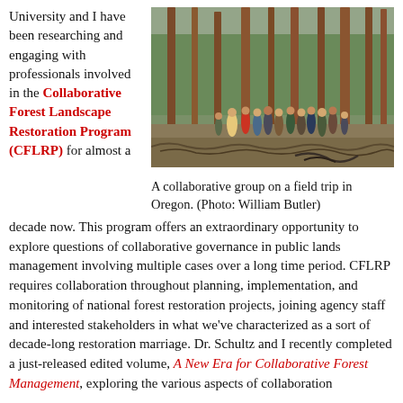University and I have been researching and engaging with professionals involved in the Collaborative Forest Landscape Restoration Program (CFLRP) for almost a
[Figure (photo): Group of people on a field trip in a pine forest in Oregon]
A collaborative group on a field trip in Oregon. (Photo: William Butler)
decade now. This program offers an extraordinary opportunity to explore questions of collaborative governance in public lands management involving multiple cases over a long time period. CFLRP requires collaboration throughout planning, implementation, and monitoring of national forest restoration projects, joining agency staff and interested stakeholders in what we've characterized as a sort of decade-long restoration marriage. Dr. Schultz and I recently completed a just-released edited volume, A New Era for Collaborative Forest Management, exploring the various aspects of collaboration